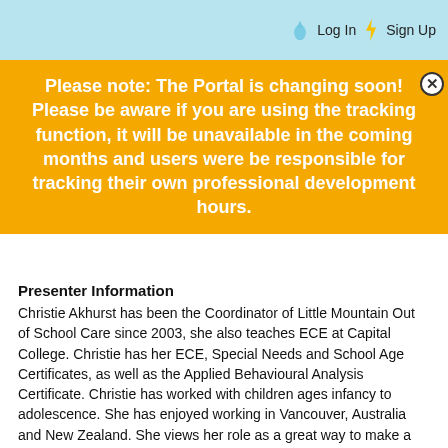Log In  Sign Up
Please note: The Portal is changing soon! Please be aware if you are using the tracking function, it will be unavailable in the coming months and users were be responsible for tracking their own professional development hours.
Presenter Information
Christie Akhurst has been the Coordinator of Little Mountain Out of School Care since 2003, she also teaches ECE at Capital College. Christie has her ECE, Special Needs and School Age Certificates, as well as the Applied Behavioural Analysis Certificate. Christie has worked with children ages infancy to adolescence. She has enjoyed working in Vancouver, Australia and New Zealand. She views her role as a great way to make a positive impact on a child or family's life. With 21 years of experience working in child care settings as well as being diagnosed with ADHD as a child, Christie will be sharing some great tips on how to embrace the advantages of learning with ADHD/ADD.